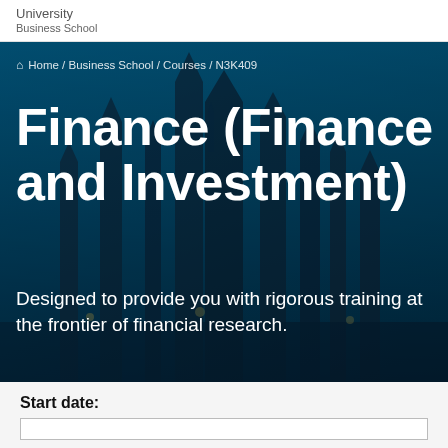University
Business School
🏠 Home / Business School / Courses / N3K409
Finance (Finance and Investment)
Designed to provide you with rigorous training at the frontier of financial research.
Start date: